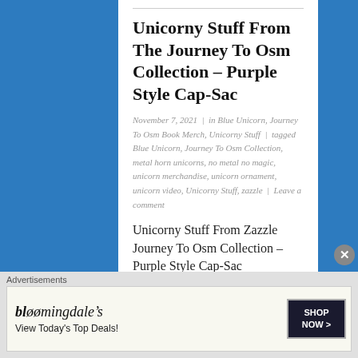Unicorny Stuff From The Journey To Osm Collection – Purple Style Cap-Sac
November 7, 2021 | in Blue Unicorn, Journey To Osm Book Merch, Unicorny Stuff | tagged Blue Unicorn, Journey To Osm Collection, metal horn unicorns, no metal no magic, unicorn merchandise, unicorn ornament, unicorn video, Unicorny Stuff, zazzle | Leave a comment
Unicorny Stuff From Zazzle Journey To Osm Collection – Purple Style Cap-Sac
Share this:
Twitter   Facebook   Pinterest
Advertisements
[Figure (other): Bloomingdales advertisement banner: 'View Today's Top Deals!' with SHOP NOW button and woman wearing large hat]